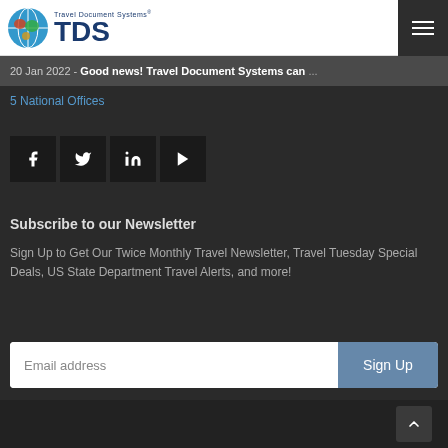Travel Document Systems TDS
20 Jan 2022 - Good news! Travel Document Systems can ...
5 National Offices
[Figure (other): Social media icons: Facebook, Twitter, LinkedIn, YouTube]
Subscribe to our Newsletter
Sign Up to Get Our Twice Monthly Travel Newsletter, Travel Tuesday Special Deals, US State Department Travel Alerts, and more!
Email address  Sign Up